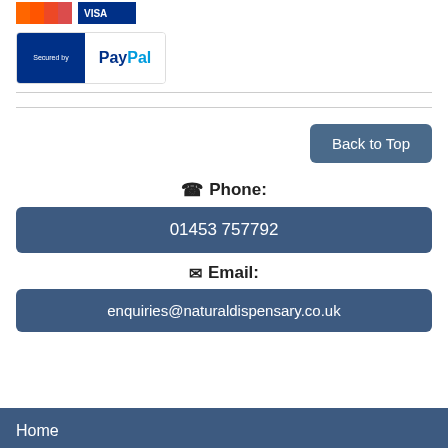[Figure (logo): Secured by PayPal badge with blue background on left and PayPal logo on right]
[Figure (logo): Payment card logos]
Phone:
01453 757792
Email:
enquiries@naturaldispensary.co.uk
Home